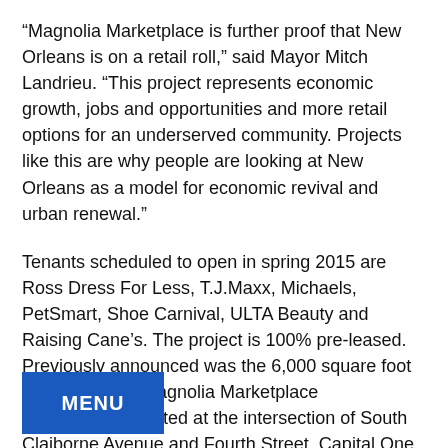“Magnolia Marketplace is further proof that New Orleans is on a retail roll,” said Mayor Mitch Landrieu. “This project represents economic growth, jobs and opportunities and more retail options for an underserved community. Projects like this are why people are looking at New Orleans as a model for economic revival and urban renewal.”
Tenants scheduled to open in spring 2015 are Ross Dress For Less, T.J.Maxx, Michaels, PetSmart, Shoe Carnival, ULTA Beauty and Raising Cane’s. The project is 100% pre-leased. Previously announced was the 6,000 square foot initial phase of Magnolia Marketplace development located at the intersection of South Claiborne Avenue and Fourth Street. Capital One Bank is currently open in that building. T-Mobile and Subway are slated to open in early 2014.
“This project embodies the strength of the New Orleans [community] and represents yet another important step in bringing retail back to the city,” stated Townsend Underhill, Senior Vice